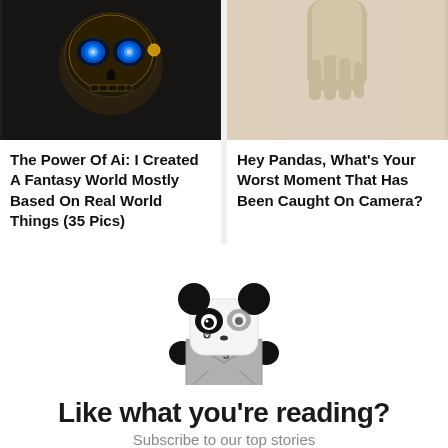[Figure (photo): Dark fantasy skull with glowing blue eyes, gold accents — AI generated art]
The Power Of Ai: I Created A Fantasy World Mostly Based On Real World Things (35 Pics)
[Figure (photo): Close-up of a person's hand/arm against a beige background]
Hey Pandas, What's Your Worst Moment That Has Been Caught On Camera?
[Figure (illustration): Cute panda mascot holding an envelope/letter, black and white cartoon style with number 3]
Like what you're reading?
Subscribe to our top stories